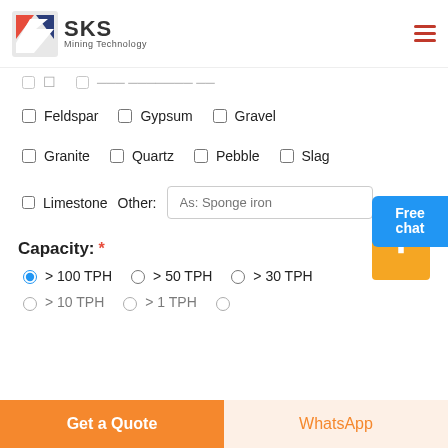SKS Mining Technology
☐ Feldspar  ☐ Gypsum  ☐ Gravel
☐ Granite  ☐ Quartz  ☐ Pebble  ☐ Slag
☐ Limestone  Other: As: Sponge iron
Capacity: *
● > 100 TPH  ○ > 50 TPH  ○ > 30 TPH
○ > 10 TPH  ○ > 1 TPH  ○
Get a Quote
WhatsApp